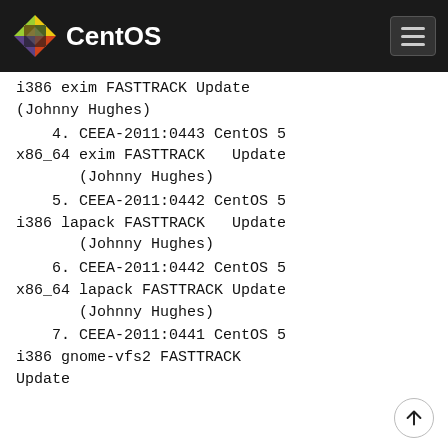CentOS
i386 exim FASTTRACK Update (Johnny Hughes)
4. CEEA-2011:0443 CentOS 5 x86_64 exim FASTTRACK   Update (Johnny Hughes)
5. CEEA-2011:0442 CentOS 5 i386 lapack FASTTRACK   Update (Johnny Hughes)
6. CEEA-2011:0442 CentOS 5 x86_64 lapack FASTTRACK Update (Johnny Hughes)
7. CEEA-2011:0441 CentOS 5 i386 gnome-vfs2 FASTTRACK Update (Johnny Hughes)